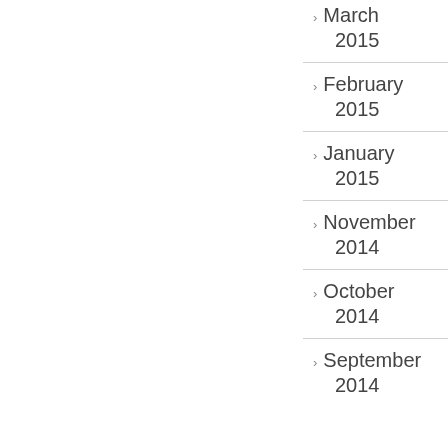March 2015
February 2015
January 2015
November 2014
October 2014
September 2014